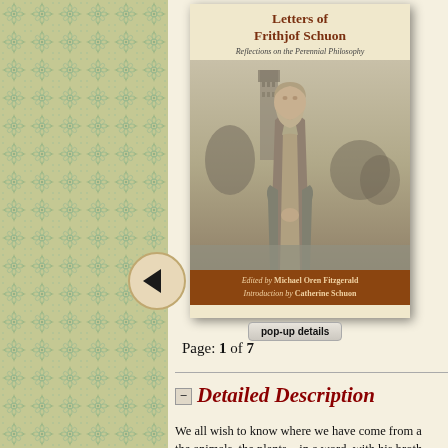[Figure (illustration): Left decorative panel with floral/botanical tile pattern in muted green, blue, and cream tones]
[Figure (photo): Book cover of 'Letters of Frithjof Schuon: Reflections on the Perennial Philosophy', edited by Michael Oren Fitzgerald, introduction by Catherine Schuon. Shows a black-and-white photo of an elderly bearded man in robes standing outdoors with a tower in background.]
pop-up details
Page: 1 of 7
Detailed Description
We all wish to know where we have come from and the animals, the plants—in a word, with his broth